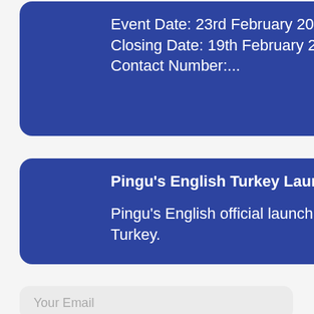Event Date: 23rd February 2020. Closing Date: 19th February 2020 Contact Number:...
Pingu's English Turkey Launch
Pingu's English official launch event in Turkey.
Your Email
Your Contact Number